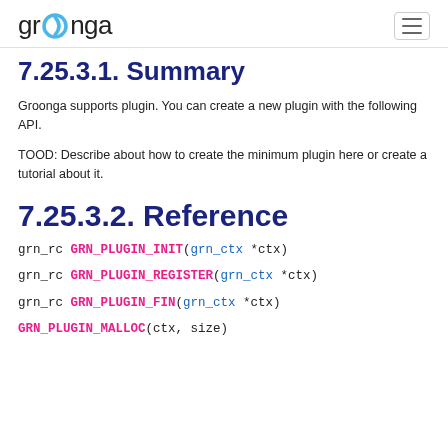groonga
7.25.3.1. Summary
Groonga supports plugin. You can create a new plugin with the following API.
TOOD: Describe about how to create the minimum plugin here or create a tutorial about it.
7.25.3.2. Reference
grn_rc GRN_PLUGIN_INIT(grn_ctx *ctx)
grn_rc GRN_PLUGIN_REGISTER(grn_ctx *ctx)
grn_rc GRN_PLUGIN_FIN(grn_ctx *ctx)
GRN_PLUGIN_MALLOC(ctx, size)